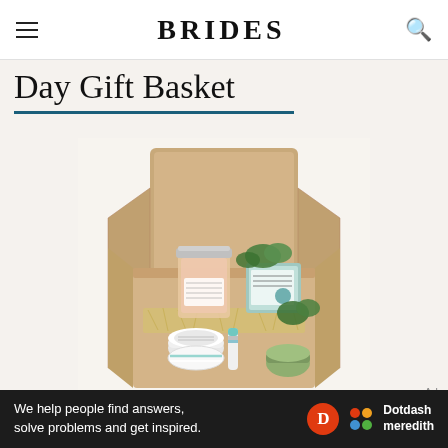BRIDES
Day Gift Basket
[Figure (photo): Open cardboard gift box containing a mason jar with pink bath salts, a lip balm, a round white jar, small greenery plants, and a teal/white packaged item, resting on straw filler, on a white/cream background.]
Amazon
We help people find answers, solve problems and get inspired. Dotdash meredith